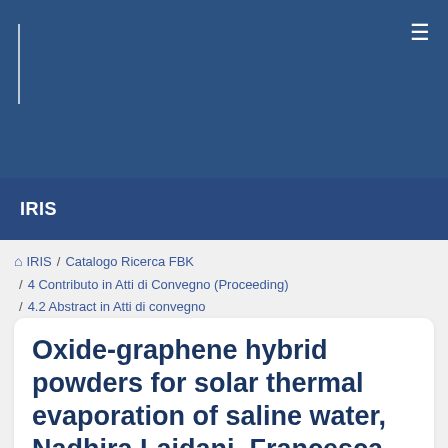IRIS
IRIS / Catalogo Ricerca FBK / 4 Contributo in Atti di Convegno (Proceeding) / 4.2 Abstract in Atti di convegno
Oxide-graphene hybrid powders for solar thermal evaporation of saline water, Nadhira Laidani, Francesca Marchetti, Hafeez Ullah, Gloria Gottardi, Ruben Bartali, Marina Scarpa, Said Makhlouf, Ilyes Mitiche and Omar